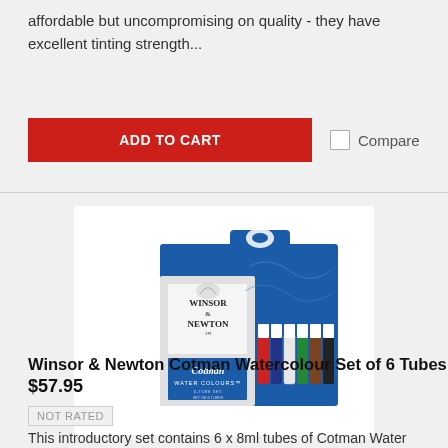affordable but uncompromising on quality - they have excellent tinting strength...
ADD TO CART
Compare
[Figure (photo): Winsor & Newton Cotman Watercolour Set of 6 Tubes product box showing tubes of paint on a blue background with the brand logo]
Winsor & Newton Cotman Watercolour Set of 6 Tubes
$57.95
NOT RATED
This introductory set contains 6 x 8ml tubes of Cotman Water Colour, offering